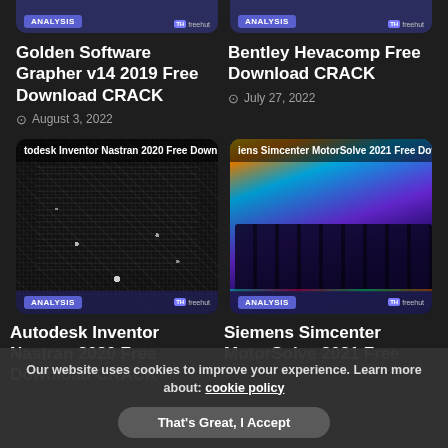[Figure (screenshot): Partial top of two article cards with ANALYSIS tag and freehut watermark]
Golden Software Grapher v14 2019 Free Download CRACK
August 3, 2022
Bentley Hevacomp Free Download CRACK
July 27, 2022
[Figure (screenshot): Autodesk Inventor Nastran 2020 Free Download - PCB circuit board image thumbnail with ANALYSIS tag and freehut watermark]
[Figure (screenshot): Siemens Simcenter MotorSolve 2021 Free Download - RGB keyboard image thumbnail with ANALYSIS tag and freehut watermark]
Autodesk Inventor Nastran 2020 Free Download CRACK
Siemens Simcenter MotorSolve 2021 Free
Our website uses cookies to improve your experience. Learn more about: cookie policy
That's Great, I Accept